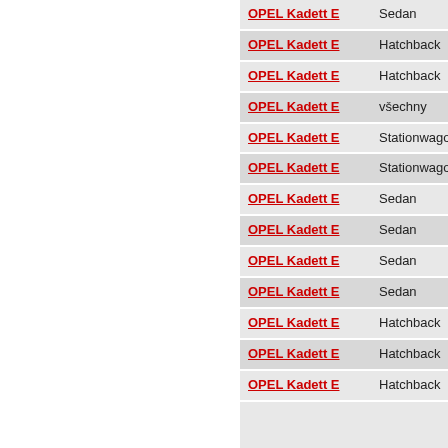| Model | Type |
| --- | --- |
| OPEL Kadett E | Sedan |
| OPEL Kadett E | Hatchback |
| OPEL Kadett E | Hatchback |
| OPEL Kadett E | všechny |
| OPEL Kadett E | Stationwagon |
| OPEL Kadett E | Stationwagon |
| OPEL Kadett E | Sedan |
| OPEL Kadett E | Sedan |
| OPEL Kadett E | Sedan |
| OPEL Kadett E | Sedan |
| OPEL Kadett E | Hatchback |
| OPEL Kadett E | Hatchback |
| OPEL Kadett E | Hatchback |